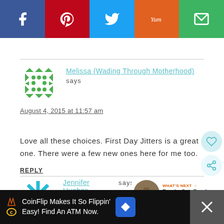[Figure (other): Social sharing bar with Facebook (blue), Pinterest (red), Twitter (blue), Yummly (orange), Email (green) buttons]
Melissa (Wading Through Motherhood) says
August 4, 2015 at 11:57 am
Love all these choices. First Day Jitters is a great one. There were a few new ones here for me too.
REPLY
Jennifer Hughes says
August 4, 2015 at 12:27 pm
[Figure (other): Advertisement bar: CoinFlip Makes It So Flippin' Easy! Find An ATM Now.]